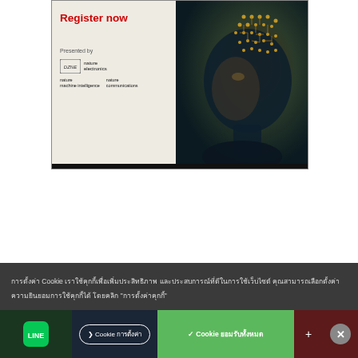[Figure (infographic): Advertisement banner for a scientific webinar/event. Left side on beige background shows 'Register now' in red bold text, 'Presented by' label, DZNE logo with 'nature electronics' branding, 'nature machine intelligence' and 'nature communications' logos. Right side shows an AI/circuit board human head silhouette illustration in dark teal and gold tones. Bottom has a dark bar.]
การตั้งค่า Cookie เราใช้คุกกี้เพื่อเพิ่มประสิทธิภาพ และประสบการณ์ที่ดีในการใช้เว็บไซต์ คุณสามารถเลือกตั้งค่าความยินยอมการใช้คุกกี้ได้ โดยคลิก "การตั้งค่าคุกกี้"